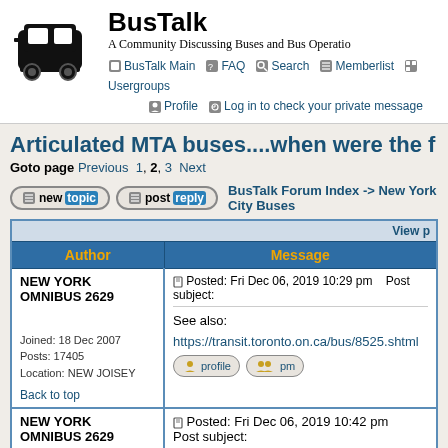BusTalk - A Community Discussing Buses and Bus Operations
Articulated MTA buses....when were the f
Goto page Previous 1, 2, 3 Next
| Author | Message |
| --- | --- |
| NEW YORK OMNIBUS 2629
Joined: 18 Dec 2007
Posts: 17405
Location: NEW JOISEY
Back to top | Posted: Fri Dec 06, 2019 10:29 pm  Post subject:
See also:
https://transit.toronto.on.ca/bus/8525.shtml |
| NEW YORK OMNIBUS 2629 | Posted: Fri Dec 06, 2019 10:42 pm  Post subject: |